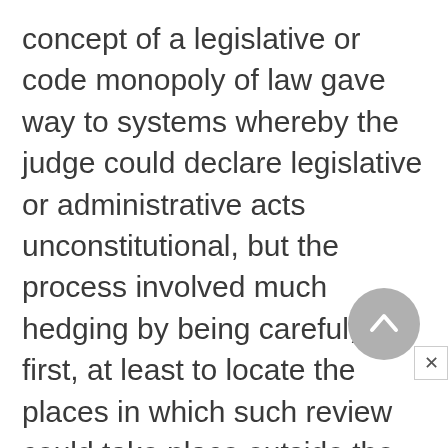concept of a legislative or code monopoly of law gave way to systems whereby the judge could declare legislative or administrative acts unconstitutional, but the process involved much hedging by being careful, at first, at least to locate the places in which such review could take place outside the ordinary court systems in special constitutional courts (often not even called courts) as in France, Germany, Italy, and Spain, and in most Latin American